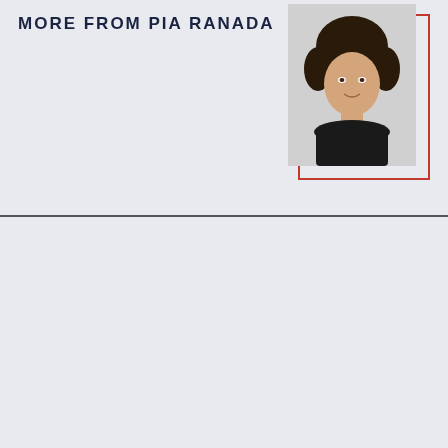MORE FROM PIA RANADA
[Figure (photo): Portrait photo of Pia Ranada, a woman with dark hair wearing a black top, shown from shoulders up against a light background]
RECOMMENDED STORIES
2022 PHILIPPINE ELECTIONS
Meet President Marcos' top 2022 campaign donors: Lacedema, Robles...
[Figure (photo): Photo of two older men smiling, holding Philippine peso banknotes, with a woman visible in the background at what appears to be an official event]